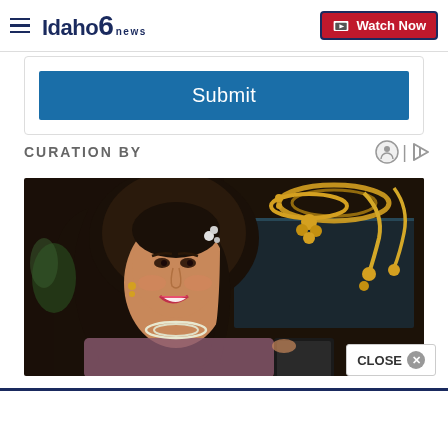Idaho News 6 — Watch Now
Submit
CURATION BY
[Figure (photo): Young woman smiling at camera, wearing traditional Indian jewelry including pearl necklace and hair accessories, in front of a jewelry display case with gold necklaces]
CLOSE